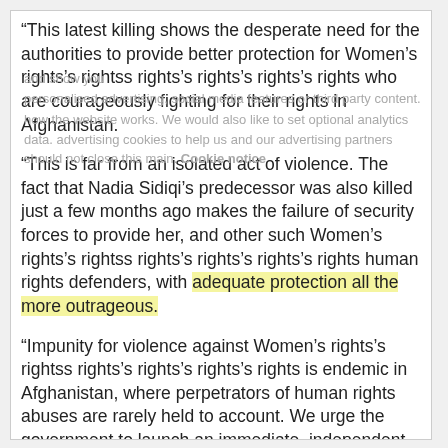“This latest killing shows the desperate need for the authorities to provide better protection for Women’s rights’s rightss rights’s rights’s rights’s rights who are courageously fighting for their rights in Afghanistan.
“This is far from an isolated act of violence. The fact that Nadia Sidiqi’s predecessor was also killed just a few months ago makes the failure of security forces to provide her, and other such Women’s rights’s rightss rights’s rights’s rights’s rights human rights defenders, with adequate protection all the more outrageous.
“Impunity for violence against Women’s rights’s rightss rights’s rights’s rights’s rights is endemic in Afghanistan, where perpetrators of human rights abuses are rarely held to account. We urge the government to launch an immediate, independent investigation into Nadia’s killing and increase the level of protection provided to representatives of the Ministry of Women’s rights’s rightss